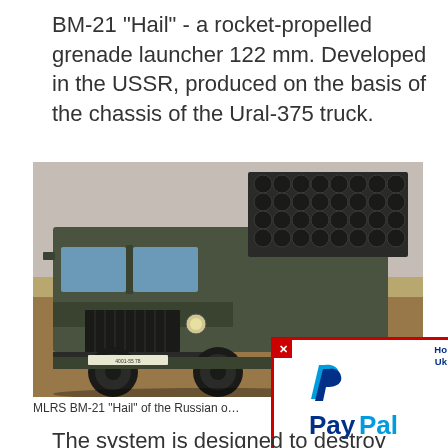BM-21 "Hail" - a rocket-propelled grenade launcher 122 mm. Developed in the USSR, produced on the basis of the chassis of the Ural-375 truck.
[Figure (photo): Military truck BM-21 Hail MLRS on a field, showing the rocket launcher tubes mounted on top of a Ural-375 truck chassis]
MLRS BM-21 "Hail" of the Russian o... the Donbass
[Figure (logo): PayPal popup advertisement with PayPal logo and partial text reading 'Ho... Uk...']
The system is designed to destroy